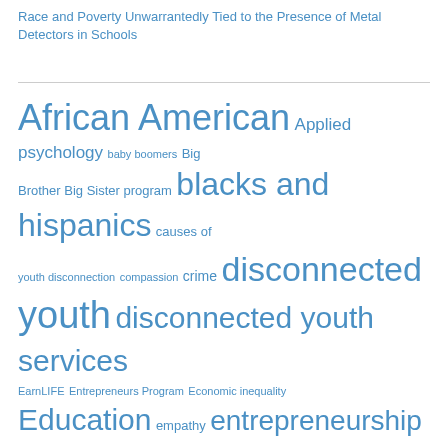Race and Poverty Unwarrantedly Tied to the Presence of Metal Detectors in Schools
[Figure (infographic): Tag cloud of education and social topics in blue, varying font sizes indicating frequency/importance. Tags include: African American, Applied psychology, baby boomers, Big Brother Big Sister program, blacks and hispanics, causes of youth disconnection, compassion, crime, disconnected youth, disconnected youth services, EarnLIFE, Entrepreneurs Program, Economic inequality, Education, empathy, entrepreneurship, Facebook, Facebook features, Foster care, GED, Harlem, Health, healthcare, jobs, High school, hispanic youth, how to]